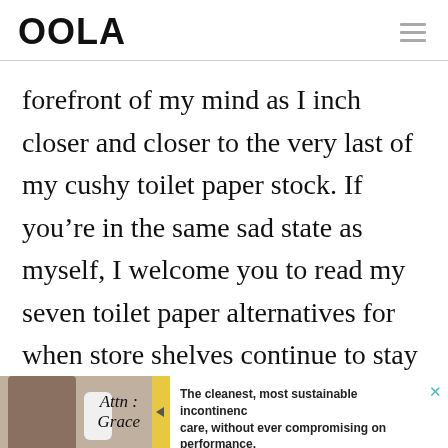OOLA
forefront of my mind as I inch closer and closer to the very last of my cushy toilet paper stock. If you’re in the same sad state as myself, I welcome you to read my seven toilet paper alternatives for when store shelves continue to stay empty. We also encourage you to share your handy alternatives if you don’t see them listed here.
[Figure (other): Advertisement banner for Attn: Grace incontinence care product. Shows a person and product image on the left, brand name 'Attn: Grace' in the center, and text 'The cleanest, most sustainable incontinence care, without ever compromising on performance.' on the right with a close button.]